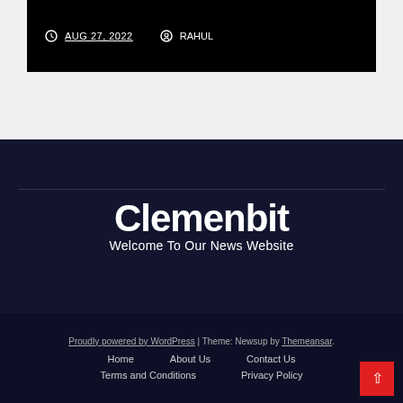AUG 27, 2022  RAHUL
Clemenbit
Welcome To Our News Website
Proudly powered by WordPress | Theme: Newsup by Themeansar. Home   About Us   Contact Us   Terms and Conditions   Privacy Policy